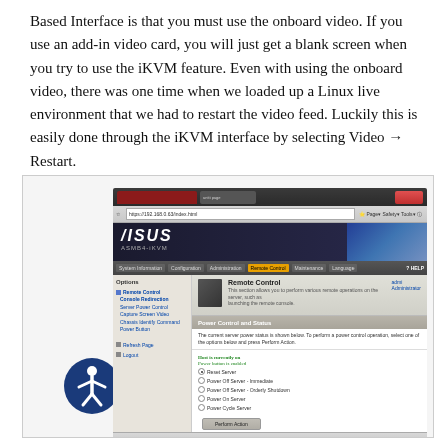Based Interface is that you must use the onboard video. If you use an add-in video card, you will just get a blank screen when you try to use the iKVM feature. Even with using the onboard video, there was one time when we loaded up a Linux live environment that we had to restart the video feed. Luckily this is easily done through the iKVM interface by selecting Video → Restart.
[Figure (screenshot): Screenshot of the ASUS iKVM web interface showing the Remote Control / Power Control and Status page in Internet Explorer. The interface shows options including Reset Server, Power Off Server - Immediate, Power Off Server - Orderly Shutdown, Power On Server, Power Cycle Server, and a Perform Action button.]